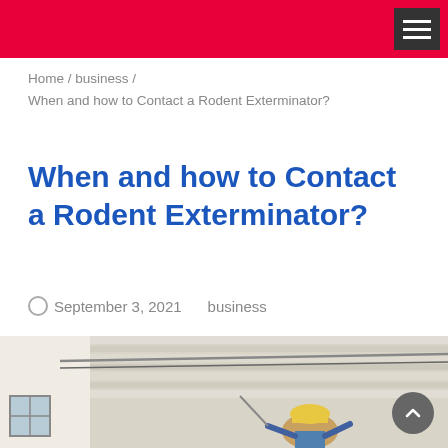Home / business / When and how to Contact a Rodent Exterminator?
When and how to Contact a Rodent Exterminator?
September 3, 2021   business
[Figure (photo): A worker wearing a yellow hard hat working on the exterior of a building, under white soffits/eaves with cables running along the ceiling.]